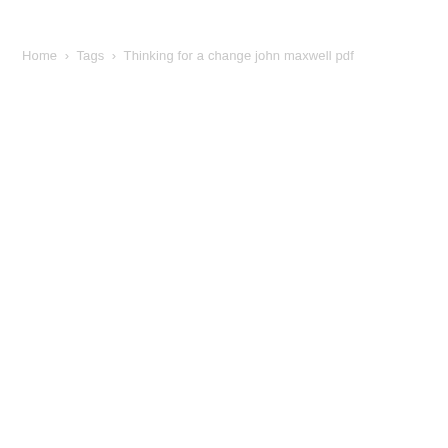Home › Tags › Thinking for a change john maxwell pdf